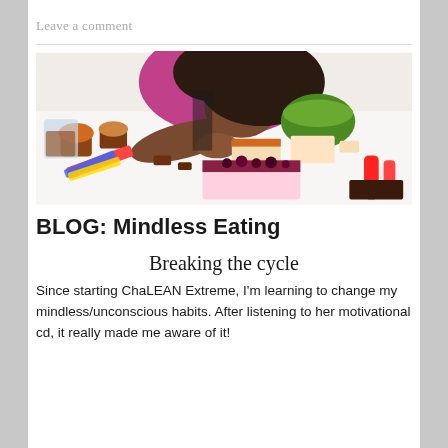Leave a comment
[Figure (photo): Woman leaning over a table filled with various sweets, cakes, cupcakes, and candy, appearing to examine or eat the food mindlessly.]
BLOG: Mindless Eating
Breaking the cycle
Since starting ChaLEAN Extreme, I'm learning to change my mindless/unconscious habits. After listening to her motivational cd, it really made me aware of it!